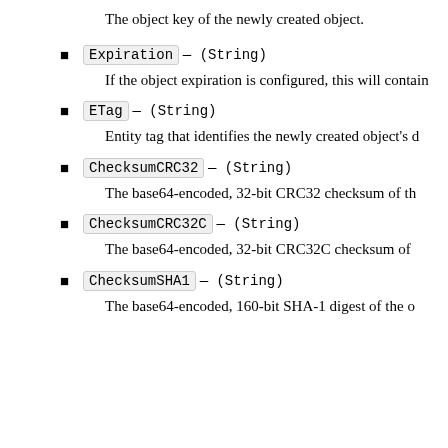The object key of the newly created object.
Expiration — (String)
If the object expiration is configured, this will contain
ETag — (String)
Entity tag that identifies the newly created object's d
ChecksumCRC32 — (String)
The base64-encoded, 32-bit CRC32 checksum of th
ChecksumCRC32C — (String)
The base64-encoded, 32-bit CRC32C checksum of
ChecksumSHA1 — (String)
The base64-encoded, 160-bit SHA-1 digest of the o